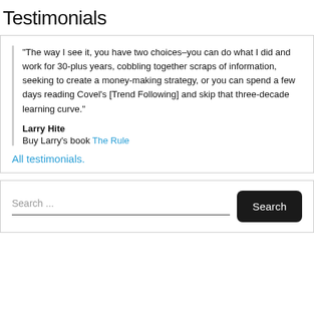Testimonials
"The way I see it, you have two choices–you can do what I did and work for 30-plus years, cobbling together scraps of information, seeking to create a money-making strategy, or you can spend a few days reading Covel's [Trend Following] and skip that three-decade learning curve."

Larry Hite
Buy Larry's book The Rule
All testimonials.
Search ...